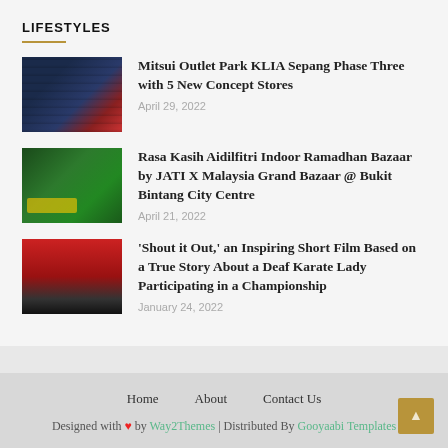LIFESTYLES
Mitsui Outlet Park KLIA Sepang Phase Three with 5 New Concept Stores
April 29, 2022
Rasa Kasih Aidilfitri Indoor Ramadhan Bazaar by JATI X Malaysia Grand Bazaar @ Bukit Bintang City Centre
April 21, 2022
'Shout it Out,' an Inspiring Short Film Based on a True Story About a Deaf Karate Lady Participating in a Championship
January 24, 2022
Home   About   Contact Us
Designed with ❤ by Way2Themes | Distributed By Gooyaabi Templates